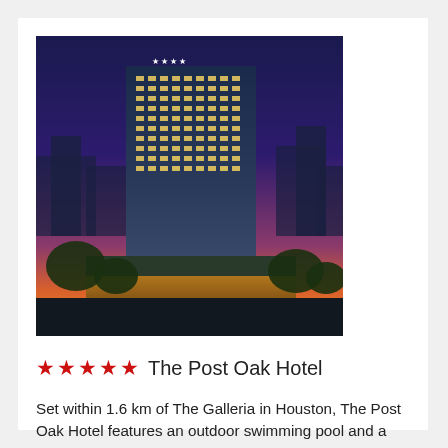[Figure (photo): Aerial night/dusk photograph of a luxury high-rise hotel building (The Post Oak Hotel) with city skyline and colorful sunset sky in Houston.]
★★★★★ The Post Oak Hotel
Set within 1.6 km of The Galleria in Houston, The Post Oak Hotel features an outdoor swimming pool and a fitness centre. Also featuring a bar, this 5-star hotel has air-conditioned rooms with a private bathroom. The Water Wall is 1.7 km away... ▶▶